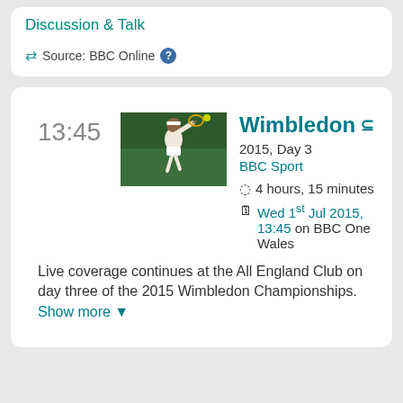Discussion & Talk
Source: BBC Online
13:45
[Figure (photo): Tennis player (Serena Williams) mid-swing on a green court at Wimbledon]
Wimbledon
2015, Day 3
BBC Sport
4 hours, 15 minutes
Wed 1st Jul 2015, 13:45 on BBC One Wales
Live coverage continues at the All England Club on day three of the 2015 Wimbledon Championships. Show more ▼